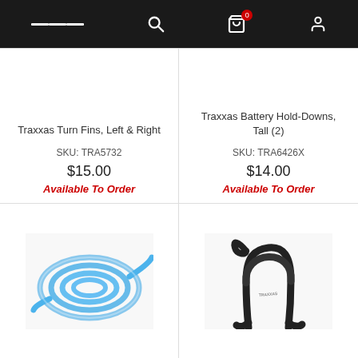Navigation bar with menu, search, cart (0 items), and user icons
Traxxas Turn Fins, Left & Right
SKU: TRA5732
$15.00
Available To Order
Traxxas Battery Hold-Downs, Tall (2)
SKU: TRA6426X
$14.00
Available To Order
[Figure (photo): Blue silicone tubing coiled in a circle on a white background]
[Figure (photo): Black Traxxas cable/strap curved in a loop shape on a white background]